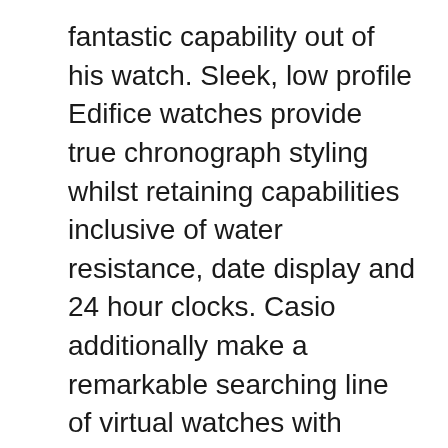fantastic capability out of his watch. Sleek, low profile Edifice watches provide true chronograph styling whilst retaining capabilities inclusive of water resistance, date display and 24 hour clocks. Casio additionally make a remarkable searching line of virtual watches with analog faces for the old-fashioned man who demands superior quality and accuracy in his watches. No rely what fashion you pick, you can be sure that Casio mens watches are hard and durable sufficient for the most energetic men.
Casio mens watches keep in mind that men are buy seiko watches constantly torn between consolation and capability and wanting to look precise for the girls. They